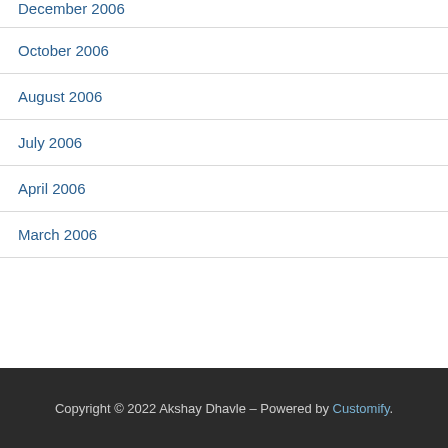December 2006
October 2006
August 2006
July 2006
April 2006
March 2006
Copyright © 2022 Akshay Dhavle – Powered by Customify.